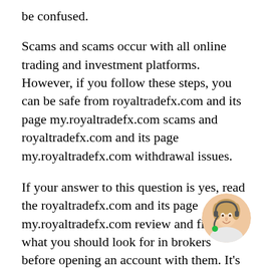be confused.
Scams and scams occur with all online trading and investment platforms. However, if you follow these steps, you can be safe from royaltradefx.com and its page my.royaltradefx.com scams and royaltradefx.com and its page my.royaltradefx.com withdrawal issues.
If your answer to this question is yes, read the royaltradefx.com and its page my.royaltradefx.com review and find out what you should look for in brokers before opening an account with them. It's always best to look for royaltradefx.com and its page my.royaltradefx.com reviews from various sources so you can get an idea of what other traders and investors think of this broker. If you are looking for
[Figure (photo): Circular photo of a woman wearing a headset, customer service representative]